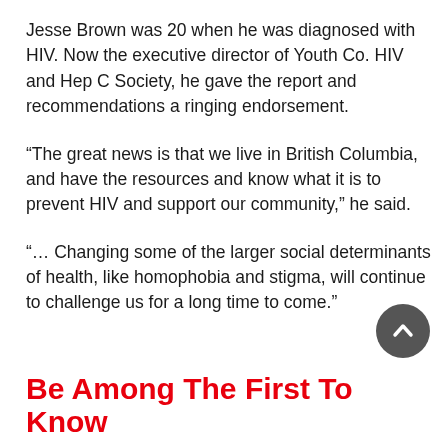Jesse Brown was 20 when he was diagnosed with HIV. Now the executive director of Youth Co. HIV and Hep C Society, he gave the report and recommendations a ringing endorsement.
“The great news is that we live in British Columbia, and have the resources and know what it is to prevent HIV and support our community,” he said.
“… Changing some of the larger social determinants of health, like homophobia and stigma, will continue to challenge us for a long time to come.”
Be Among The First To Know